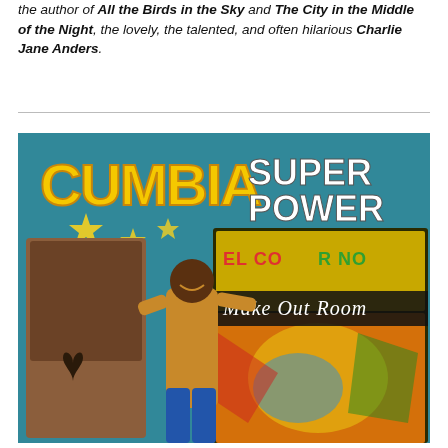the author of All the Birds in the Sky and The City in the Middle of the Night, the lovely, the talented, and often hilarious Charlie Jane Anders.
[Figure (photo): Album or poster artwork titled 'CUMBIA SUPER POWER' featuring a smiling man standing next to a colorful jukebox or music machine with 'Make Out Room' written on it, set against a teal/blue background with stars.]